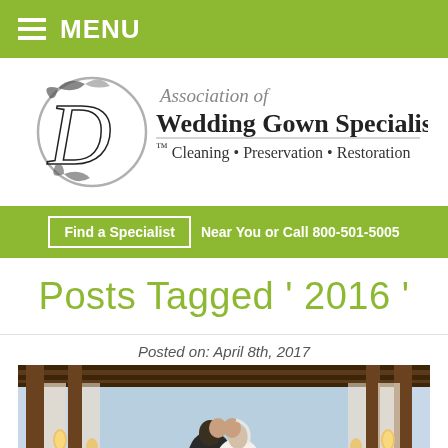≡ MENU
[Figure (logo): Association of Wedding Gown Specialists logo with dove illustration. Text: Association of Wedding Gown Specialists ™ Cleaning • Preservation • Restoration]
Find a Specialist  Near You or Call 800-501-5005
Posts Tagged ' 2016 '
Posted on: April 8th, 2017
[Figure (photo): Wedding couple kissing under a wooden pergola with hanging lanterns and draped curtains]